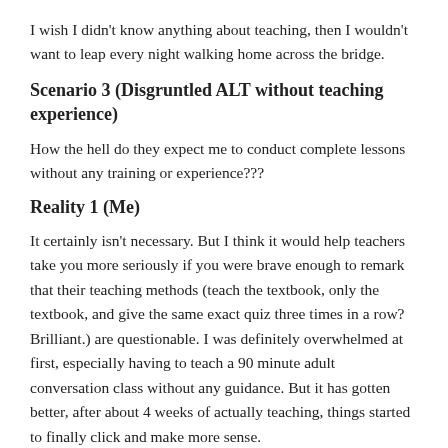I wish I didn't know anything about teaching, then I wouldn't want to leap every night walking home across the bridge.
Scenario 3 (Disgruntled ALT without teaching experience)
How the hell do they expect me to conduct complete lessons without any training or experience???
Reality 1 (Me)
It certainly isn't necessary. But I think it would help teachers take you more seriously if you were brave enough to remark that their teaching methods (teach the textbook, only the textbook, and give the same exact quiz three times in a row? Brilliant.) are questionable. I was definitely overwhelmed at first, especially having to teach a 90 minute adult conversation class without any guidance. But it has gotten better, after about 4 weeks of actually teaching, things started to finally click and make more sense.